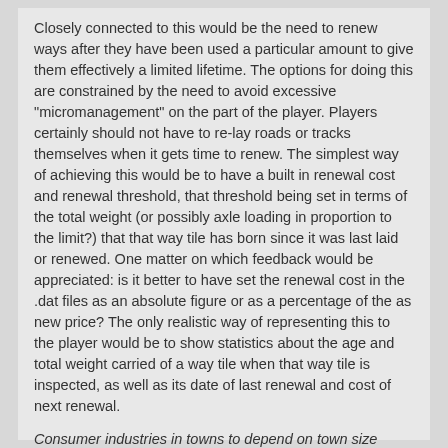Closely connected to this would be the need to renew ways after they have been used a particular amount to give them effectively a limited lifetime. The options for doing this are constrained by the need to avoid excessive "micromanagement" on the part of the player. Players certainly should not have to re-lay roads or tracks themselves when it gets time to renew. The simplest way of achieving this would be to have a built in renewal cost and renewal threshold, that threshold being set in terms of the total weight (or possibly axle loading in proportion to the limit?) that that way tile has born since it was last laid or renewed. One matter on which feedback would be appreciated: is it better to have set the renewal cost in the .dat files as an absolute figure or as a percentage of the as new price? The only realistic way of representing this to the player would be to show statistics about the age and total weight carried of a way tile when that way tile is inspected, as well as its date of last renewal and cost of next renewal.
Consumer industries in towns to depend on town size Complete
Consumer only industries in towns would have their production set when first built according to the size of the town relative to other towns on the map, within its existing range. For example, if an industry had a base production of 100 and a range of 50 (that